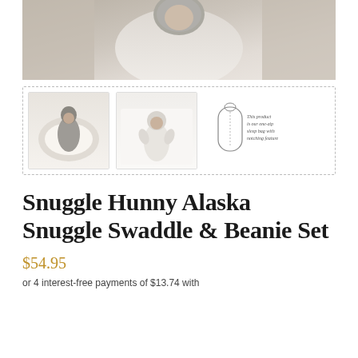[Figure (photo): Top main product photo showing a baby swaddled in a grey/cream sleep sack held by a person, cropped view from above]
[Figure (photo): Thumbnail 1: baby in grey swaddle and beanie lying on a white surface]
[Figure (photo): Thumbnail 2: baby in white swaddle and beanie lying on a white surface]
[Figure (illustration): Thumbnail 3: line drawing illustration of a sleeping bag with handwritten text describing the product as a one-way zip sleep bag with notching feature]
Snuggle Hunny Alaska Snuggle Swaddle & Beanie Set
$54.95
or 4 interest-free payments of $13.74 with